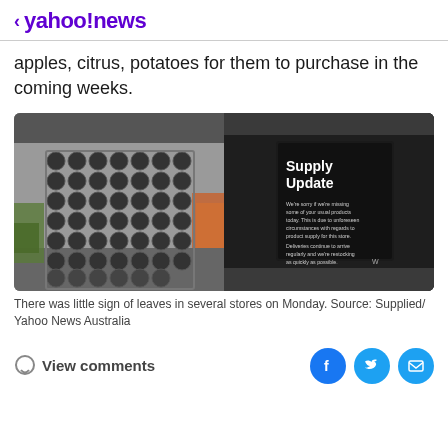< yahoo!news
apples, citrus, potatoes for them to purchase in the coming weeks.
[Figure (photo): Left: empty produce display trays in a grocery store. Right: a 'Supply Update' sign in a dark store shelf reading 'We're sorry if we're missing some of your usual products today. This is due to unforeseen circumstances with regards to product supply for this store. Deliveries continue to arrive regularly and we're restocking as quickly as possible.']
There was little sign of leaves in several stores on Monday. Source: Supplied/ Yahoo News Australia
View comments